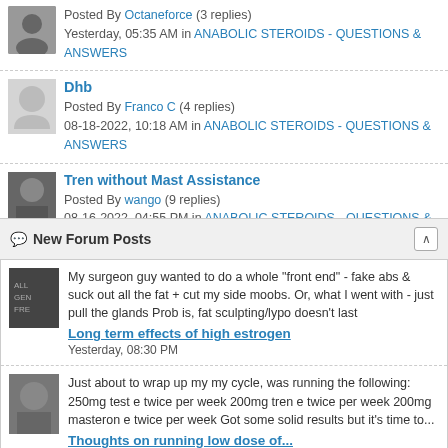Posted By Octaneforce (3 replies) Yesterday, 05:35 AM in ANABOLIC STEROIDS - QUESTIONS & ANSWERS
Dhb
Posted By Franco C (4 replies)
08-18-2022, 10:18 AM in ANABOLIC STEROIDS - QUESTIONS & ANSWERS
Tren without Mast Assistance
Posted By wango (9 replies)
08-16-2022, 04:55 PM in ANABOLIC STEROIDS - QUESTIONS & ANSWERS
New Forum Posts
My surgeon guy wanted to do a whole "front end" - fake abs & suck out all the fat + cut my side moobs. Or, what I went with - just pull the glands Prob is, fat sculpting/lypo doesn't last
Long term effects of high estrogen
Yesterday, 08:30 PM
Just about to wrap up my my cycle, was running the following: 250mg test e twice per week 200mg tren e twice per week 200mg masteron e twice per week Got some solid results but it's time to...
Thoughts on running low dose of...
Yesterday, 01:06 PM